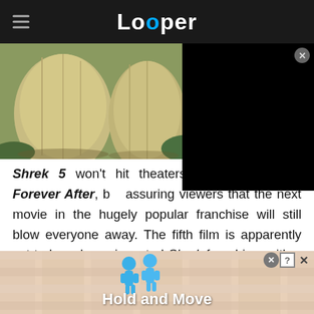Looper
[Figure (screenshot): Hero image showing Shrek character legs/feet (large rounded shapes) in greenish swamp setting. Right portion covered by black video player overlay.]
Shrek 5 won't hit theaters until after Shrek Forever After, but assuring viewers that the next movie in the hugely popular franchise will still blow everyone away. The fifth film is apparently set to launch a reinvented Shrek franchise, with a whole potential Shrek universe on the way as well. "Reinvention was sort
[Figure (screenshot): Advertisement banner showing 'Hold and Move' game with two blue cartoon figures on a pastel striped background.]